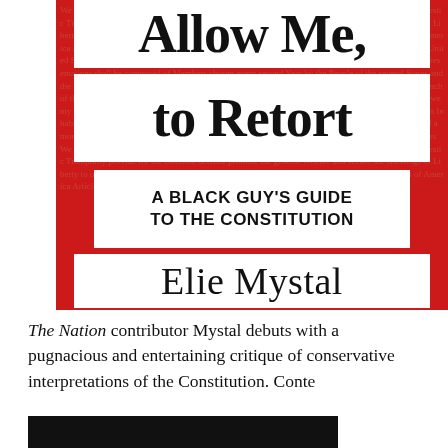[Figure (illustration): Book cover of 'Allow Me to Retort: A Black Guy's Guide to the Constitution' by Elie Mystal. Red background with white rectangular title bars showing the title, subtitle, and author name in black text.]
The Nation contributor Mystal debuts with a pugnacious and entertaining critique of conservative interpretations of the Constitution. Conte[nts cover constitutional amendments and] [the histor]y of